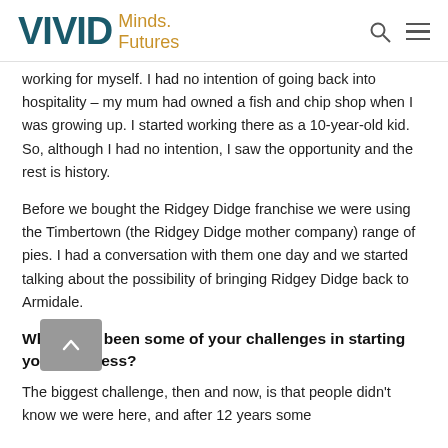VIVID Minds. Futures
working for myself. I had no intention of going back into hospitality – my mum had owned a fish and chip shop when I was growing up. I started working there as a 10-year-old kid. So, although I had no intention, I saw the opportunity and the rest is history.
Before we bought the Ridgey Didge franchise we were using the Timbertown (the Ridgey Didge mother company) range of pies. I had a conversation with them one day and we started talking about the possibility of bringing Ridgey Didge back to Armidale.
What have been some of your challenges in starting your business?
The biggest challenge, then and now, is that people didn't know we were here, and after 12 years some